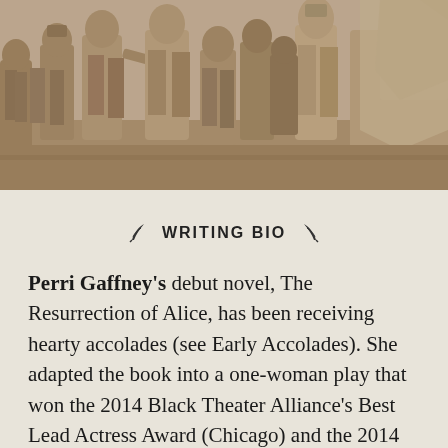[Figure (photo): Sepia-toned photograph of terracotta warrior statues from the Terracotta Army, showing multiple figures in various poses and states of excavation]
WRITING BIO
Perri Gaffney's debut novel, The Resurrection of Alice, has been receiving hearty accolades (see Early Accolades). She adapted the book into a one-woman play that won the 2014 Black Theater Alliance's Best Lead Actress Award (Chicago) and the 2014 African American Arts Alliance of Chicago Outstanding Actress Award. The Resurrection... has also received many nominations including; the 2014 Black Theater Alliance Best Play and Best...